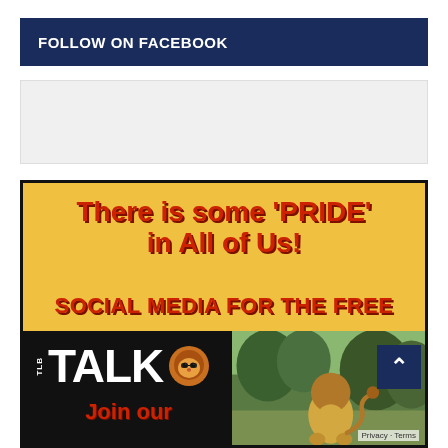FOLLOW ON FACEBOOK
[Figure (other): Facebook widget placeholder box (light grey empty box)]
[Figure (illustration): Promotional graphic with yellow background. Text reads: There is some 'PRIDE' in All of Us! SOCIAL MEDIA FOR THE FREE. TLB TALK logo with lion icon. Join our. Bottom right shows photo of lion in nature. Scroll-to-top button overlay.]